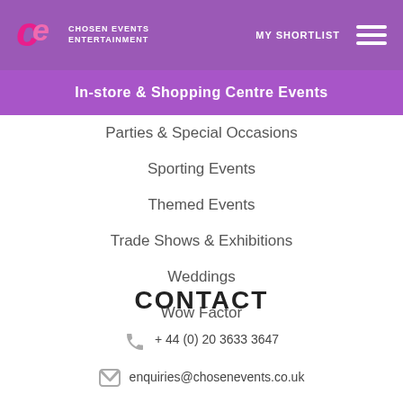Chosen Events Entertainment — MY SHORTLIST
In-store & Shopping Centre Events
Parties & Special Occasions
Sporting Events
Themed Events
Trade Shows & Exhibitions
Weddings
Wow Factor
CONTACT
+ 44 (0) 20 3633 3647
enquiries@chosenevents.co.uk
Chosen Events Entertainment
International House
142 Cromwell Road
London